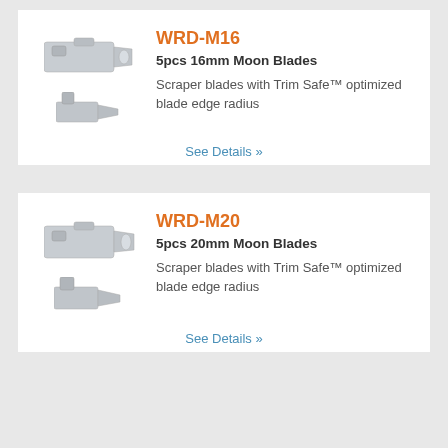WRD-M16
5pcs 16mm Moon Blades
Scraper blades with Trim Safe™ optimized blade edge radius
See Details »
WRD-M20
5pcs 20mm Moon Blades
Scraper blades with Trim Safe™ optimized blade edge radius
See Details »